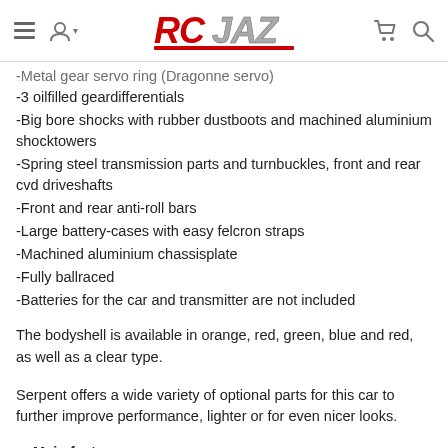RCJAZ [navigation header with logo, hamburger menu, user icon, cart, search]
-Metal gear servo ring (Dragonne servo)
-3 oilfilled geardifferentials
-Big bore shocks with rubber dustboots and machined aluminium shocktowers
-Spring steel transmission parts and turnbuckles, front and rear cvd driveshafts
-Front and rear anti-roll bars
-Large battery-cases with easy felcron straps
-Machined aluminium chassisplate
-Fully ballraced
-Batteries for the car and transmitter are not included
The bodyshell is available in orange, red, green, blue and red, as well as a clear type.
Serpent offers a wide variety of optional parts for this car to further improve performance, lighter or for even nicer looks.
Main features
Car